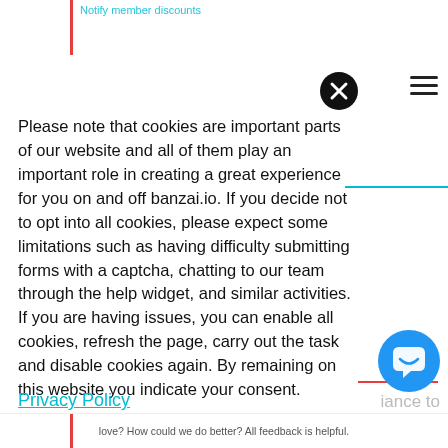Notify member discounts
Please note that cookies are important parts of our website and all of them play an important role in creating a great experience for you on and off banzai.io. If you decide not to opt into all cookies, please expect some limitations such as having difficulty submitting forms with a captcha, chatting to our team through the help widget, and similar activities. If you are having issues, you can enable all cookies, refresh the page, carry out the task and disable cookies again. By remaining on this website you indicate your consent.
Privacy Policy
love? How could we do better? All feedback is helpful.